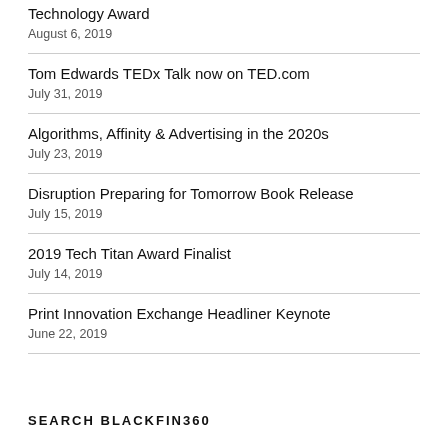Technology Award
August 6, 2019
Tom Edwards TEDx Talk now on TED.com
July 31, 2019
Algorithms, Affinity & Advertising in the 2020s
July 23, 2019
Disruption Preparing for Tomorrow Book Release
July 15, 2019
2019 Tech Titan Award Finalist
July 14, 2019
Print Innovation Exchange Headliner Keynote
June 22, 2019
SEARCH BLACKFIN360